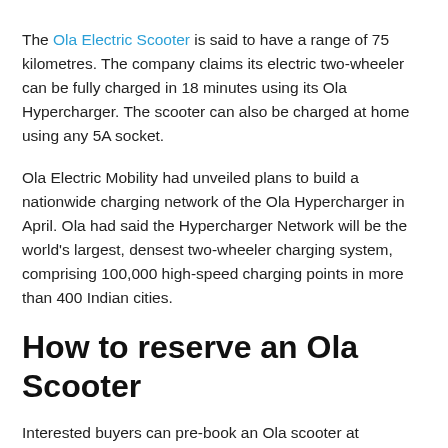The Ola Electric Scooter is said to have a range of 75 kilometres. The company claims its electric two-wheeler can be fully charged in 18 minutes using its Ola Hypercharger. The scooter can also be charged at home using any 5A socket.
Ola Electric Mobility had unveiled plans to build a nationwide charging network of the Ola Hypercharger in April. Ola had said the Hypercharger Network will be the world's largest, densest two-wheeler charging system, comprising 100,000 high-speed charging points in more than 400 Indian cities.
How to reserve an Ola Scooter
Interested buyers can pre-book an Ola scooter at olaelectric.com. All they need to do is verify their phone